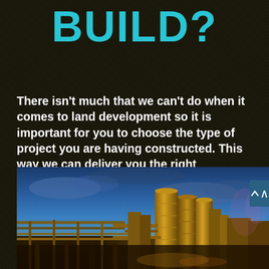BUILD?
There isn't much that we can't do when it comes to land development so it is important for you to choose the type of project you are having constructed. This way we can deliver you the right information.
[Figure (photo): Industrial construction facility at dusk/twilight showing large cylindrical silos and industrial structures illuminated with warm yellow/orange lighting against a blue sky with dramatic clouds]